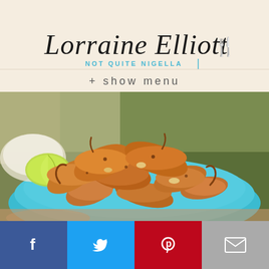[Figure (logo): Lorraine Elliott Not Quite Nigella logo with script text and fork icon on cream/beige background]
+ show menu
[Figure (photo): Close-up photo of seasoned/spiced shrimp piled on a blue plate, with a lime wedge and rice visible in the background, held by a person outdoors]
[Figure (infographic): Social media share buttons bar: Facebook (blue), Twitter (light blue), Pinterest (red), Email (grey)]